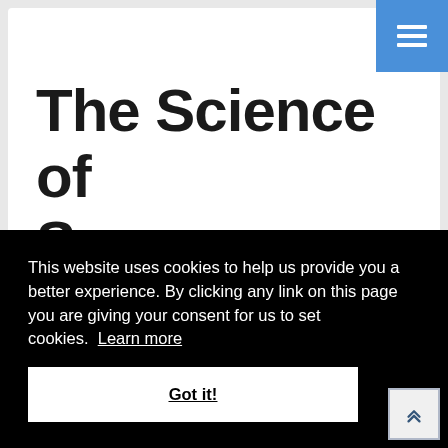[Figure (screenshot): Blue navigation hamburger menu button in top-right corner with three white horizontal bars on blue background]
The Science of Success: What Researchers Know
This website uses cookies to help us provide you a better experience. By clicking any link on this page you are giving your consent for us to set cookies. Learn more
Got it!